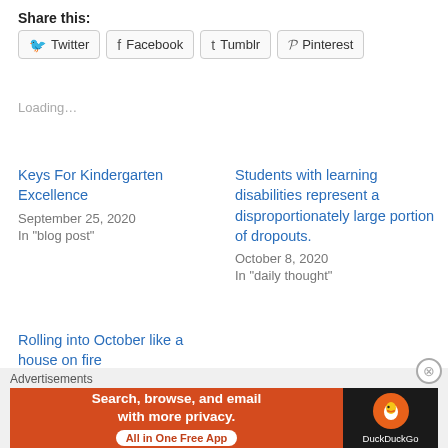Share this:
Twitter
Facebook
Tumblr
Pinterest
Loading…
Keys For Kindergarten Excellence
September 25, 2020
In "blog post"
Students with learning disabilities represent a disproportionately large portion of dropouts.
October 8, 2020
In "daily thought"
Rolling into October like a house on fire
September 30, 2020
Advertisements
[Figure (screenshot): DuckDuckGo advertisement banner: 'Search, browse, and email with more privacy. All in One Free App' with DuckDuckGo logo on dark background]